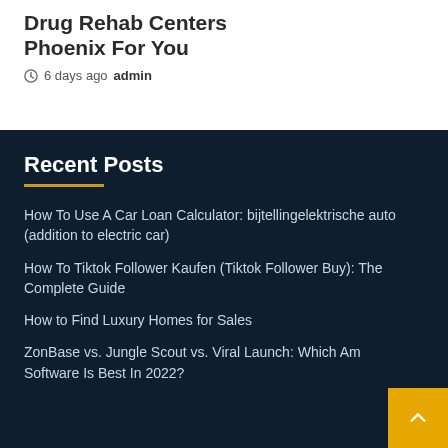Drug Rehab Centers Phoenix For You
6 days ago  admin
Recent Posts
How To Use A Car Loan Calculator: bijtellingelektrische auto (addition to electric car)
How To Tiktok Follower Kaufen (Tiktok Follower Buy): The Complete Guide
How to Find Luxury Homes for Sales
ZonBase vs. Jungle Scout vs. Viral Launch: Which Amazon Software Is Best In 2022?